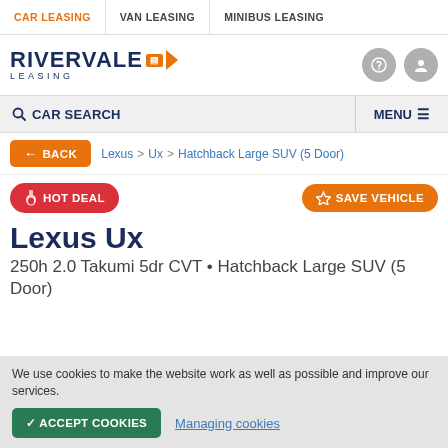CAR LEASING | VAN LEASING | MINIBUS LEASING
[Figure (logo): Rivervale Leasing logo with orange car icon and triangle]
CAR SEARCH | MENU
← BACK | Lexus > Ux > Hatchback Large SUV (5 Door)
HOT DEAL | SAVE VEHICLE
Lexus Ux
250h 2.0 Takumi 5dr CVT • Hatchback Large SUV (5 Door)
We use cookies to make the website work as well as possible and improve our services.
✓ ACCEPT COOKIES | Managing cookies